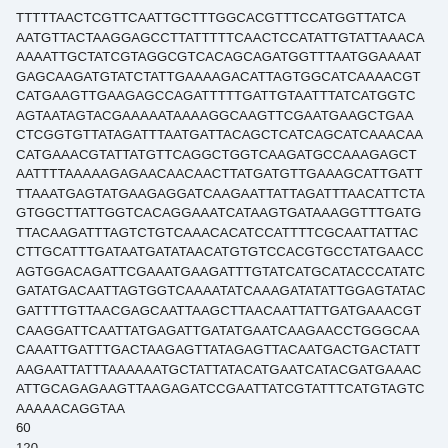TTTTTAACTCGTTCAATTGCTTTGGCACGTTTCCATGGTTATCA
AATGTTACTAAGGAGCCTTATTTTTCAACTCCATATTGTATTAAACA
AAAATTGCTATCGTAGGCGTCACAGCAGATGGTTTAATGGAAAAT
GAGCAAGATGTATCTATTGAAAAGACATTAGTGGCATCAAAACGT
CATGAAGTTGAAGAGCCAGATTTTTGATTGTAATTTATCATGGTC
AGTAATAGTACGAAAAATAAAAGGCAAGTTCGAATGAAGCTGAA
CTCGGTGTTATAGATTTAATGATTACAGCTCATCAGCATCAAACAA
CATGAAACGTATTATGTTCAGGCTGGTCAAGATGCCAAAGAGCT
AATTTTAAAAAGAGAACAACAACTTATGATGTTGAAAGCATTGATT
TTAAATGAGTATGAAGAGGATCAAGAATTATTAGATTTAACATTCTA
GTGGCTTATTGGTCACAGGAAATCATAAGTGATAAAGGTTTGATG
TTACAAGATTTAGTCTGTCAAACACATCCATTTTCGCAATTATTAC
CTTGCATTTGATAATGATATAACATGTGTCCACGTGCCTATGAACC
AGTGGACAGATTCGAAATGAAGATTTGTATCATGCATACCCATATC
GATATGACAATTAGTGGTCAAAATATCAAAGATATATTGGAGTATAC
GATTTTGTTAACGAGCAATTAAGCTTAACAATTATTGATGAAACGT
CAAGGATTCAATTATGAGATTGATATGAATCAAGAACCTGGGCAA
CAAATTGATTTGACTAAGAGTTATAGAGTTACAATGACTGACTATT
AAGAATTATTTAAAAAATGCTATTATACATGAATCATACGATGAAAC
ATTGCAGAGAAGTTAAGAGATCCGAATTATCGTATTTCATGTAGTC
AAAAACAGGTAA
60
120
180